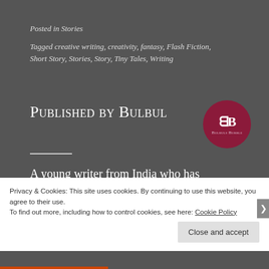Posted in Stories
Tagged creative writing, creativity, fantasy, Flash Fiction, Short Story, Stories, Story, Tiny Tales, Writing
Published by Bulbul
[Figure (logo): Circular dark red logo with stylized 'BB' letters and 'Bulbuls Bubble' text]
A young writer from India who has loved stories since she was able to understand
Privacy & Cookies: This site uses cookies. By continuing to use this website, you agree to their use. To find out more, including how to control cookies, see here: Cookie Policy
Close and accept